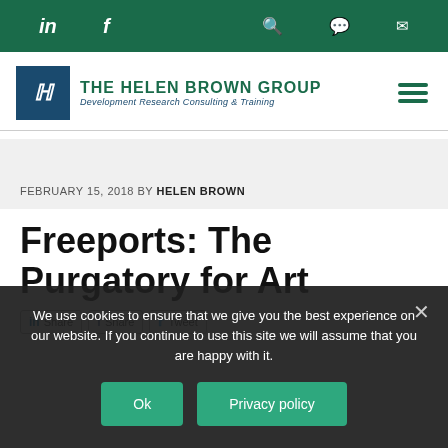Top navigation bar with LinkedIn, Facebook, search, chat, and email icons
[Figure (logo): The Helen Brown Group logo — blue emblem with HB monogram, green organization name, blue italic subtitle 'Development Research Consulting & Training']
FEBRUARY 15, 2018 BY HELEN BROWN
Freeports: The Purgatory for Art
Share (LinkedIn) | Share (Facebook) | Tweet (Twitter)
We use cookies to ensure that we give you the best experience on our website. If you continue to use this site we will assume that you are happy with it.
Ok | Privacy policy